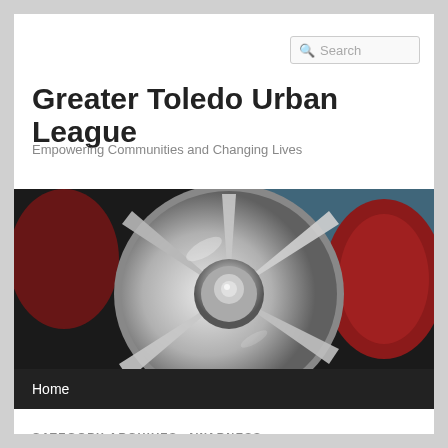Search
Greater Toledo Urban League
Empowering Communities and Changing Lives
[Figure (photo): Close-up photo of a shiny chrome automotive wheel hub/spinner with red brake components visible in the background, taken with shallow depth of field]
Home
CATEGORY ARCHIVES: AWARNESS